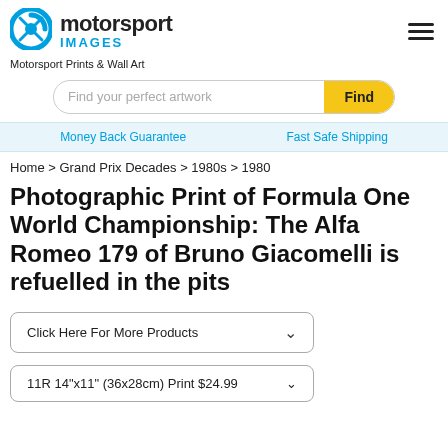[Figure (logo): Motorsport Images logo with blue circular lens icon and bold text 'motorsport IMAGES']
Motorsport Prints & Wall Art
Find your perfect artwork
Money Back Guarantee   Fast Safe Shipping
Home > Grand Prix Decades > 1980s > 1980
Photographic Print of Formula One World Championship: The Alfa Romeo 179 of Bruno Giacomelli is refuelled in the pits
Click Here For More Products
11R 14"x11" (36x28cm) Print $24.99